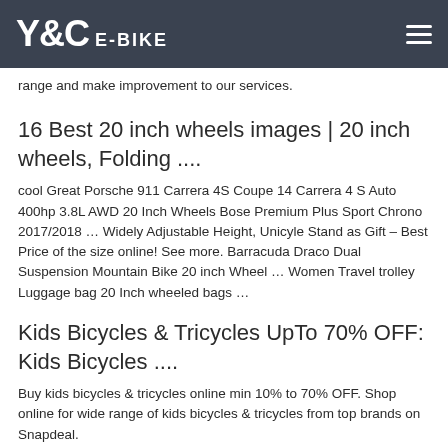Y&C E-BIKE
range and make improvement to our services.
16 Best 20 inch wheels images | 20 inch wheels, Folding ....
cool Great Porsche 911 Carrera 4S Coupe 14 Carrera 4 S Auto 400hp 3.8L AWD 20 Inch Wheels Bose Premium Plus Sport Chrono 2017/2018 … Widely Adjustable Height, Unicyle Stand as Gift – Best Price of the size online! See more. Barracuda Draco Dual Suspension Mountain Bike 20 inch Wheel … Women Travel trolley Luggage bag 20 Inch wheeled bags …
Kids Bicycles & Tricycles UpTo 70% OFF: Kids Bicycles ....
Buy kids bicycles & tricycles online min 10% to 70% OFF. Shop online for wide range of kids bicycles & tricycles from top brands on Snapdeal.